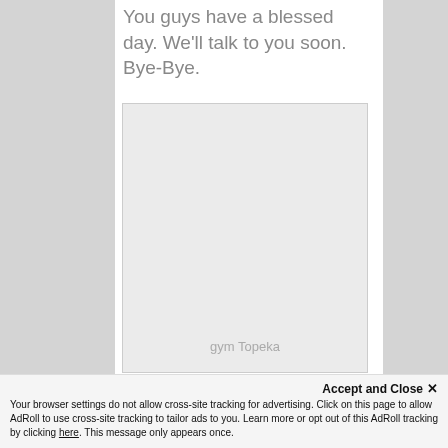You guys have a blessed day. We'll talk to you soon. Bye-Bye.
[Figure (other): Advertisement placeholder box with label 'gym Topeka']
Accept and Close ✕
Your browser settings do not allow cross-site tracking for advertising. Click on this page to allow AdRoll to use cross-site tracking to tailor ads to you. Learn more or opt out of this AdRoll tracking by clicking here. This message only appears once.